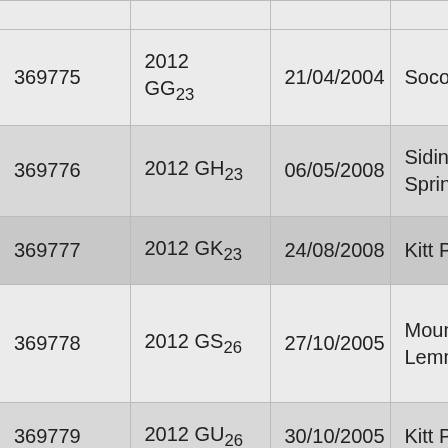| ID | Designation | Date | Observatory | ... |
| --- | --- | --- | --- | --- |
| 369775 | 2012 GG₂₃ | 21/04/2004 | Socorro | L |
| 369776 | 2012 GH₂₃ | 06/05/2008 | Siding Spring | S |
| 369777 | 2012 GK₂₃ | 24/08/2008 | Kitt Peak | S |
| 369778 | 2012 GS₂₆ | 27/10/2005 | Mount Lemmon | M L S |
| 369779 | 2012 GU₂₆ | 30/10/2005 | Kitt Peak | S |
| 369780 | 2012 GP₂₈ | 23/01/2006 | Kitt Peak | S |
| 369781 | 2012 ... | 18/04/2007 | Mount ... | M L |